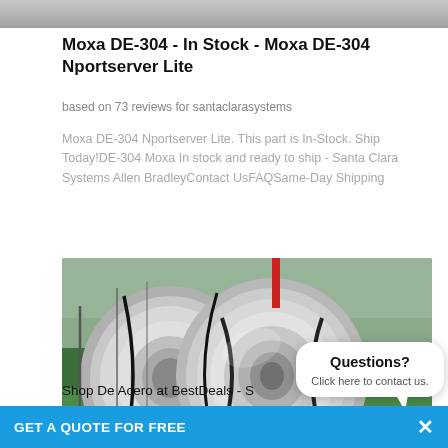[Figure (photo): Partial top image strip showing a gray/silver background, clipped at top of page]
Moxa DE-304 - In Stock - Moxa DE-304 Nportserver Lite
based on 73 reviews for santaclarasystems
Moxa DE-304 Nportserver Lite. This part is In-Stock. Ship Today!DE-304 Moxa In stock and ready to ship - Santa Clara Systems Allen BradleyContact UsFAQSame-Day Shipping
[Figure (photo): Photo of large industrial steel coil rolls on a green floor surface]
Questions? Click here to contact us.
GET A QUOTE FOR FREE  ×
Shop De Acero at BestDeals - S